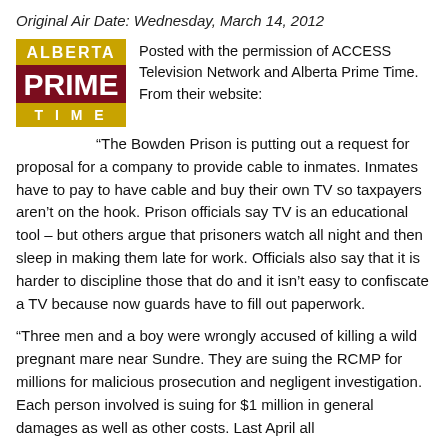Original Air Date: Wednesday, March 14, 2012
[Figure (logo): Alberta Prime Time logo — gold banner with ALBERTA text, dark red PRIME TIME text, gold TIME bar at bottom]
Posted with the permission of ACCESS Television Network and Alberta Prime Time. From their website:
“The Bowden Prison is putting out a request for proposal for a company to provide cable to inmates. Inmates have to pay to have cable and buy their own TV so taxpayers aren’t on the hook. Prison officials say TV is an educational tool – but others argue that prisoners watch all night and then sleep in making them late for work. Officials also say that it is harder to discipline those that do and it isn’t easy to confiscate a TV because now guards have to fill out paperwork.
“Three men and a boy were wrongly accused of killing a wild pregnant mare near Sundre. They are suing the RCMP for millions for malicious prosecution and negligent investigation. Each person involved is suing for $1 million in general damages as well as other costs. Last April all